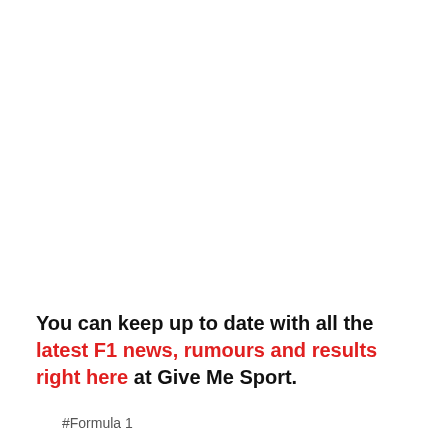You can keep up to date with all the latest F1 news, rumours and results right here at Give Me Sport.
#Formula 1